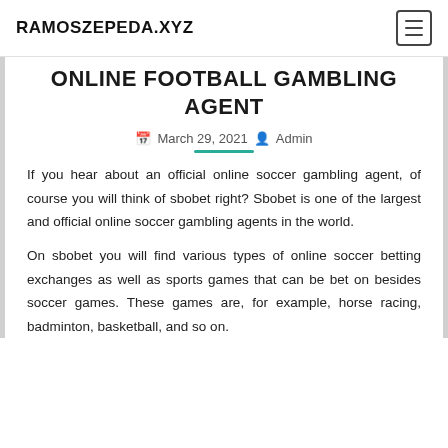RAMOSZEPEDA.XYZ
ONLINE FOOTBALL GAMBLING AGENT
March 29, 2021  Admin
If you hear about an official online soccer gambling agent, of course you will think of sbobet right? Sbobet is one of the largest and official online soccer gambling agents in the world.
On sbobet you will find various types of online soccer betting exchanges as well as sports games that can be bet on besides soccer games. These games are, for example, horse racing, badminton, basketball, and so on.